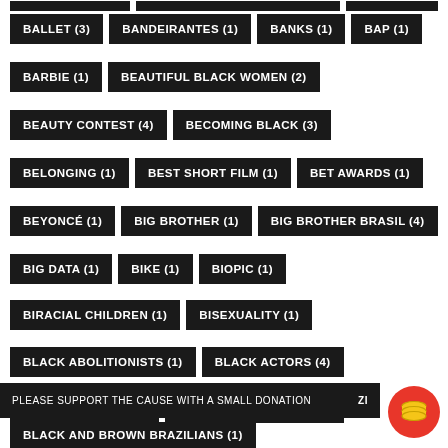BALLET (3)
BANDEIRANTES (1)
BANKS (1)
BAP (1)
BARBIE (1)
BEAUTIFUL BLACK WOMEN (2)
BEAUTY CONTEST (4)
BECOMING BLACK (3)
BELONGING (1)
BEST SHORT FILM (1)
BET AWARDS (1)
BEYONCÉ (1)
BIG BROTHER (1)
BIG BROTHER BRASIL (4)
BIG DATA (1)
BIKE (1)
BIOPIC (1)
BIRACIAL CHILDREN (1)
BISEXUALITY (1)
BLACK ABOLITIONISTS (1)
BLACK ACTORS (4)
BLACK ACTRESS (1)
BLACK ACTRESSES (170)
BLACK AESTHETIC (1)
BLACK AGENDA (1)
PLEASE SUPPORT THE CAUSE WITH A SMALL DONATION
BLACK AND BROWN BRAZILIANS (1)